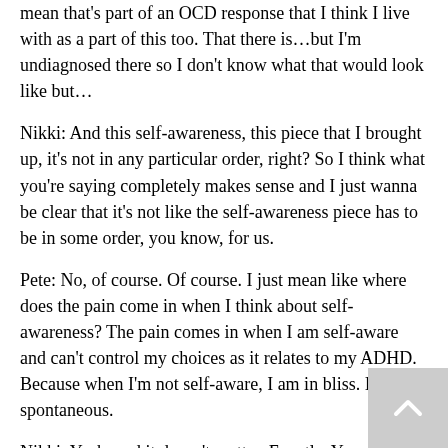mean that's part of an OCD response that I think I live with as a part of this too. That there is…but I'm undiagnosed there so I don't know what that would look like but…
Nikki: And this self-awareness, this piece that I brought up, it's not in any particular order, right? So I think what you're saying completely makes sense and I just wanna be clear that it's not like the self-awareness piece has to be in some order, you know, for us.
Pete: No, of course. Of course. I just mean like where does the pain come in when I think about self-awareness? The pain comes in when I am self-aware and can't control my choices as it relates to my ADHD. Because when I'm not self-aware, I am in bliss. I'm spontaneous.
Nikki: Yeah, and it doesn't matter. Exactly. You don't…yeah, exactly. So it's something that…going back into the